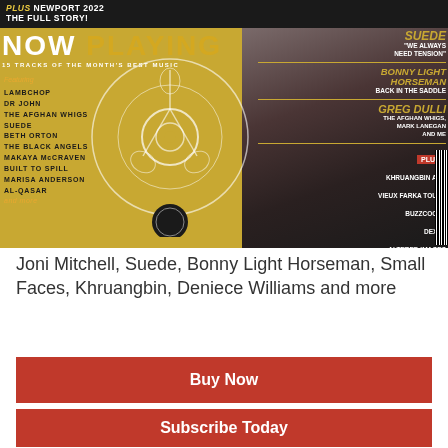[Figure (photo): Magazine cover of what appears to be a music magazine. Left side has gold/yellow background with 'NOW PLAYING' in large letters, '15 TRACKS OF THE MONTH'S BEST MUSIC' subtitle, and a tracklist featuring Lambchop, Dr John, The Afghan Whigs, Suede, Beth Orton, The Black Angels, Makaya McCraven, Built to Spill, Marisa Anderson, Al-Qasar, and more. A reel-to-reel tape graphic is visible. Right side dark background with artist names: Suede 'We Always Need Tension', Bonny Light Horseman Back in the Saddle, Greg Dulli The Afghan Whigs Mark Lanegan and Me. Top banner reads PLUS NEWPORT 2022 THE FULL STORY. Plus section lists Khruangbin and Vieux Farka Touré, Buzzcocks, Dexys, Altered Images, Flaming Lips.]
Joni Mitchell, Suede, Bonny Light Horseman, Small Faces, Khruangbin, Deniece Williams and more
Buy Now
Subscribe Today